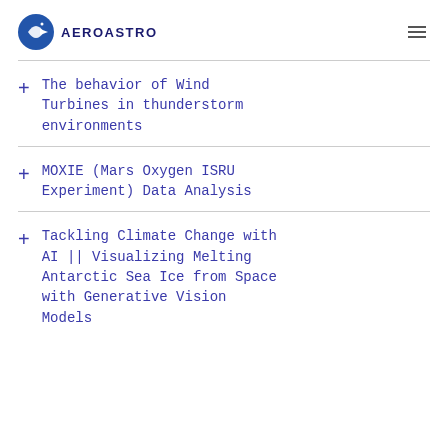AEROASTRO
The behavior of Wind Turbines in thunderstorm environments
MOXIE (Mars Oxygen ISRU Experiment) Data Analysis
Tackling Climate Change with AI || Visualizing Melting Antarctic Sea Ice from Space with Generative Vision Models